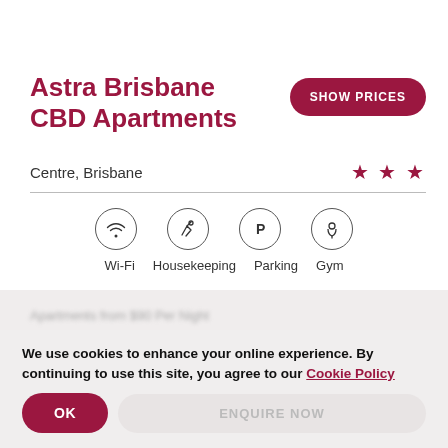Astra Brisbane CBD Apartments
SHOW PRICES
Centre, Brisbane ★★★
[Figure (infographic): Four amenity icons in circles: Wi-Fi, Housekeeping, Parking (P), Gym]
Wi-Fi  Housekeeping  Parking  Gym
We use cookies to enhance your online experience. By continuing to use this site, you agree to our Cookie Policy
OK
ENQUIRE NOW